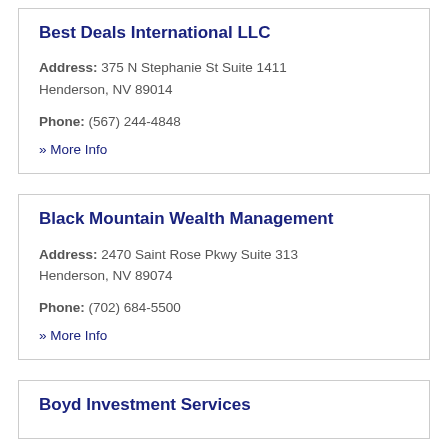Best Deals International LLC
Address: 375 N Stephanie St Suite 1411 Henderson, NV 89014
Phone: (567) 244-4848
» More Info
Black Mountain Wealth Management
Address: 2470 Saint Rose Pkwy Suite 313 Henderson, NV 89074
Phone: (702) 684-5500
» More Info
Boyd Investment Services